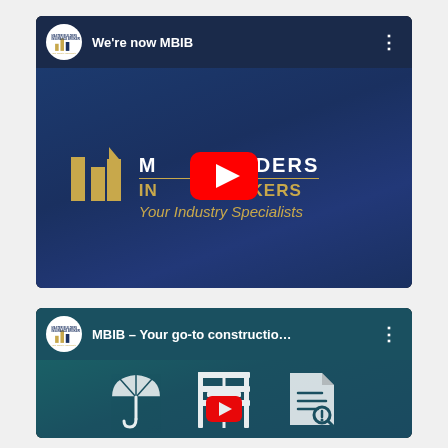[Figure (screenshot): YouTube video thumbnail for 'We're now MBIB' featuring Master Builders Insurance Brokers logo on dark blue background with YouTube play button overlay]
[Figure (screenshot): YouTube video thumbnail for 'MBIB – Your go-to constructio...' featuring teal background with icons for umbrella, construction scaffolding, and document search, with YouTube play button overlay]